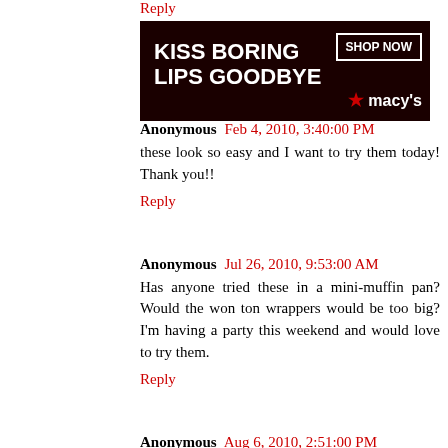Reply
[Figure (photo): Macy's advertisement banner: 'KISS BORING LIPS GOODBYE' with a woman wearing red lipstick and a 'SHOP NOW' button with Macy's logo]
Anonymous Feb 4, 2010, 3:40:00 PM
these look so easy and I want to try them today! Thank you!!
Reply
Anonymous Jul 26, 2010, 9:53:00 AM
Has anyone tried these in a mini-muffin pan? Would the won ton wrappers would be too big? I'm having a party this weekend and would love to try them.
Reply
Anonymous Aug 6, 2010, 2:51:00 PM
I made these twice, once with mini-muffin tins and once with regular sized ones. First let me say they were very good. The first time I sort of goofed up the recipe since I was in a hurry. But even with that I served them at a party and everyone loved them.